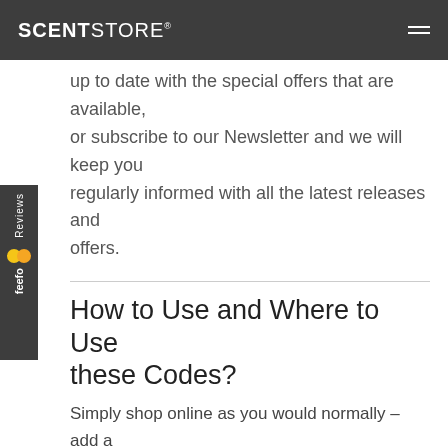SCENTSTORE®
up to date with the special offers that are available, or subscribe to our Newsletter and we will keep you regularly informed with all the latest releases and offers.
How to Use and Where to Use these Codes?
Simply shop online as you would normally – add a product to the basket and go to the checkout page. Here you will see a box asking for a 'Coupon Code'